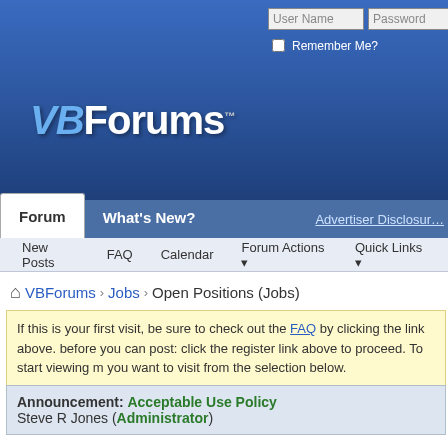VBForums - Forum navigation header with login fields
Forum | What's New? | Advertiser Disclosure
New Posts | FAQ | Calendar | Forum Actions | Quick Links
VBForums › Jobs › Open Positions (Jobs)
If this is your first visit, be sure to check out the FAQ by clicking the link above. before you can post: click the register link above to proceed. To start viewing m you want to visit from the selection below.
Announcement: Acceptable Use Policy
Steve R Jones (Administrator)